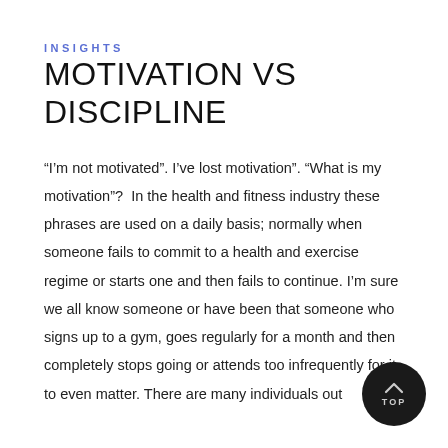INSIGHTS
MOTIVATION VS DISCIPLINE
“I’m not motivated”. I’ve lost motivation”. “What is my motivation”?  In the health and fitness industry these phrases are used on a daily basis; normally when someone fails to commit to a health and exercise regime or starts one and then fails to continue. I’m sure we all know someone or have been that someone who signs up to a gym, goes regularly for a month and then completely stops going or attends too infrequently for it to even matter. There are many individuals out